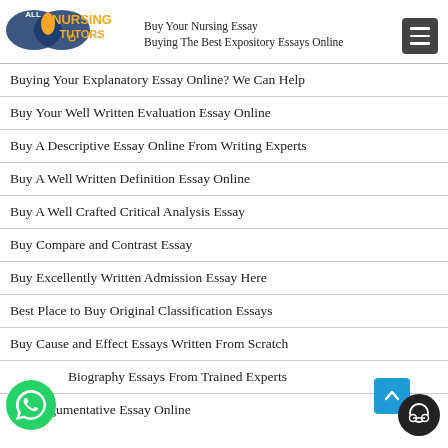Buy Your Nursing Essay | Buying The Best Expository Essays Online
Buying Your Explanatory Essay Online? We Can Help
Buy Your Well Written Evaluation Essay Online
Buy A Descriptive Essay Online From Writing Experts
Buy A Well Written Definition Essay Online
Buy A Well Crafted Critical Analysis Essay
Buy Compare and Contrast Essay
Buy Excellently Written Admission Essay Here
Best Place to Buy Original Classification Essays
Buy Cause and Effect Essays Written From Scratch
Biography Essays From Trained Experts
Buy Argumentative Essay Online